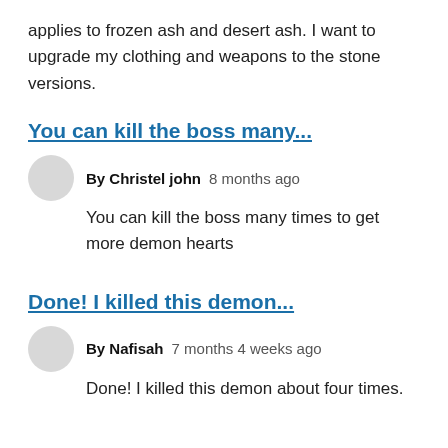applies to frozen ash and desert ash. I want to upgrade my clothing and weapons to the stone versions.
You can kill the boss many...
By Christel john   8 months ago
You can kill the boss many times to get more demon hearts
Done! I killed this demon...
By Nafisah   7 months 4 weeks ago
Done! I killed this demon about four times.